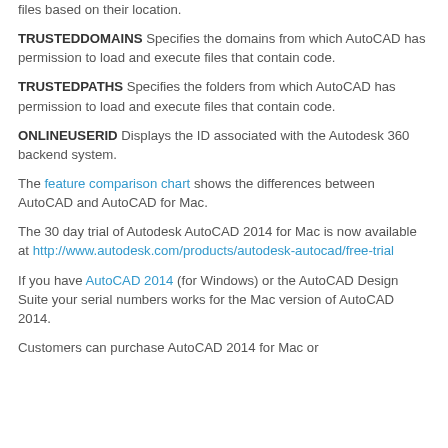files based on their location.
TRUSTEDDOMAINS Specifies the domains from which AutoCAD has permission to load and execute files that contain code.
TRUSTEDPATHS Specifies the folders from which AutoCAD has permission to load and execute files that contain code.
ONLINEUSERID Displays the ID associated with the Autodesk 360 backend system.
The feature comparison chart shows the differences between AutoCAD and AutoCAD for Mac.
The 30 day trial of Autodesk AutoCAD 2014 for Mac is now available at http://www.autodesk.com/products/autodesk-autocad/free-trial
If you have AutoCAD 2014 (for Windows) or the AutoCAD Design Suite your serial numbers works for the Mac version of AutoCAD 2014.
Customers can purchase AutoCAD 2014 for Mac or